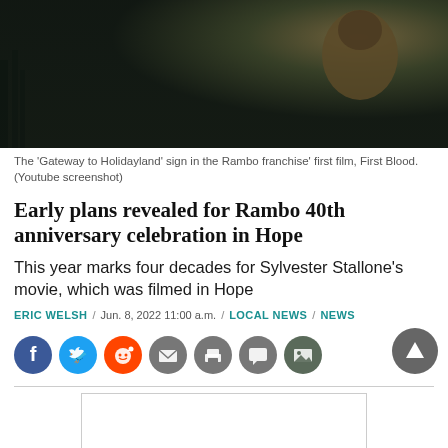[Figure (photo): Dark cinematic still showing a sign and a figure in a winter outdoor setting from the Rambo franchise's first film, First Blood.]
The 'Gateway to Holidayland' sign in the Rambo franchise' first film, First Blood. (Youtube screenshot)
Early plans revealed for Rambo 40th anniversary celebration in Hope
This year marks four decades for Sylvester Stallone's movie, which was filmed in Hope
ERIC WELSH / Jun. 8, 2022 11:00 a.m. / LOCAL NEWS / NEWS
[Figure (infographic): Social share icons: Facebook, Twitter, Reddit, Email, Print, Comment, Gallery, and a scroll-to-top button]
[Figure (other): Advertisement placeholder rectangle]